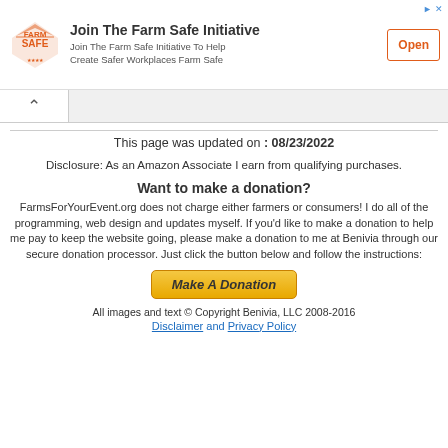[Figure (infographic): Farm Safe Initiative advertisement banner with logo, text and Open button]
This page was updated on : 08/23/2022
Disclosure: As an Amazon Associate I earn from qualifying purchases.
Want to make a donation?
FarmsForYourEvent.org does not charge either farmers or consumers!  I do all of the programming, web design and updates myself.  If you'd like to make a donation to help me pay to keep the website going, please make a donation to me at Benivia through our secure donation processor.  Just click the button below and follow the instructions:
[Figure (other): Make A Donation button]
All images and text © Copyright Benivia, LLC 2008-2016
Disclaimer and Privacy Policy